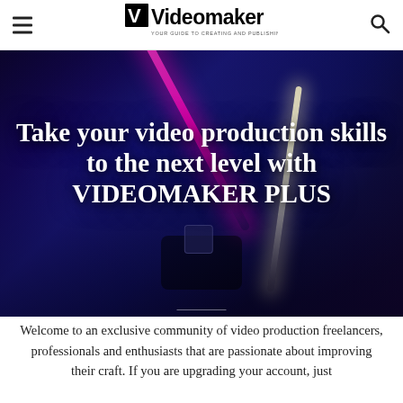Videomaker — YOUR GUIDE TO CREATING AND PUBLISHING GREAT VIDEO
[Figure (photo): Dark blue-toned photo of a video production set with a camera operator silhouetted against a bright pink/magenta light beam on the left and a white/yellow light beam on the right, with a monitor visible on the camera rig and a person in colorful outfit in background.]
Take your video production skills to the next level with VIDEOMAKER PLUS
Welcome to an exclusive community of video production freelancers, professionals and enthusiasts that are passionate about improving their craft. If you are upgrading your account, just